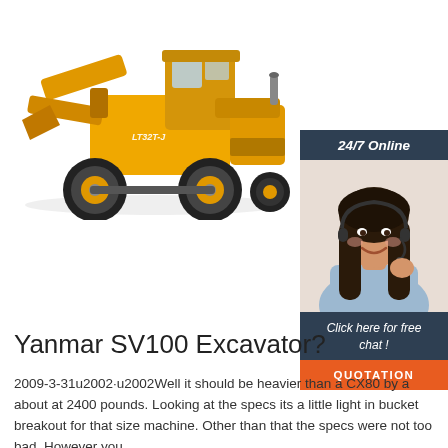[Figure (photo): Yellow wheel loader/excavator machine (LT32T-J) on white background, viewed from front-left side]
[Figure (photo): Online chat widget on dark blue/slate background showing '24/7 Online' header, photo of smiling woman with headset (customer service representative), text 'Click here for free chat!', and orange 'QUOTATION' button]
Yanmar SV100 Excavator?
2009-3-31u2002·u2002Well it should be heavier than a CX80 by a about at 2400 pounds. Looking at the specs its a little light in bucket breakout for that size machine. Other than that the specs were not too bad. However you